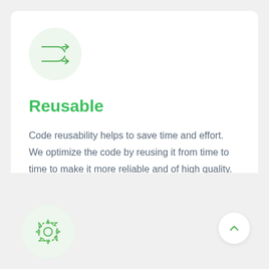[Figure (illustration): Shuffle/reusability icon — two crossing arrows in green, inside a light green circle]
Reusable
Code reusability helps to save time and effort. We optimize the code by reusing it from time to time to make it more reliable and of high quality.
[Figure (illustration): Gear/settings icon in green outline, inside a light green circle — partially visible at bottom left]
[Figure (illustration): Scroll-to-top button — upward chevron inside a white circle with subtle shadow, partially visible at bottom right]